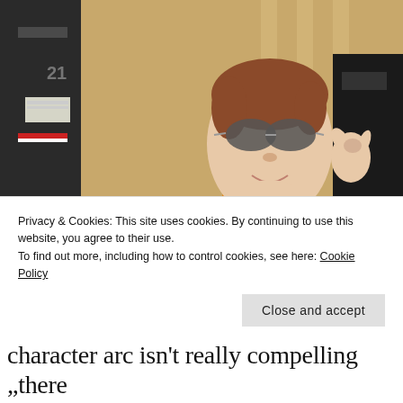[Figure (photo): A woman in a military flight suit and aviator sunglasses sitting in a fighter jet cockpit, smiling and making a shaka hand gesture. She has a military patch on her sleeve. The background shows a tan/beige building with vertical stripes.]
Privacy & Cookies: This site uses cookies. By continuing to use this website, you agree to their use.
To find out more, including how to control cookies, see here: Cookie Policy
Close and accept
character arc isn't really compelling „there